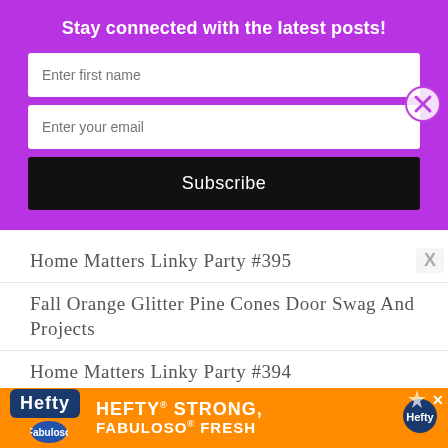Stay connected with the latest posts!
Enter first name
Enter your email
Subscribe
Home Matters Linky Party #395
Fall Orange Glitter Pine Cones Door Swag And Projects
Home Matters Linky Party #394
Second Hand Furniture and Home Décor – Guidelines To Follow When You Are Thrift
[Figure (infographic): Hefty Strong, Fabuloso Fresh advertisement banner in orange with Hefty and Fabuloso logos]